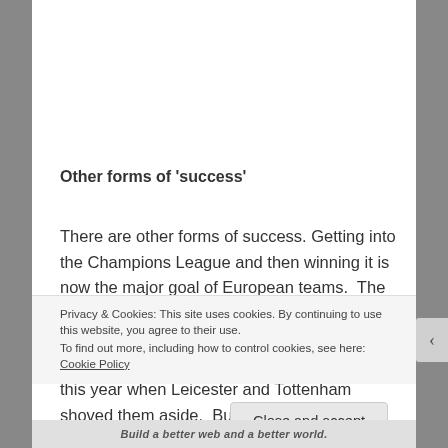Other forms of 'success'
There are other forms of success. Getting into the Champions League and then winning it is now the major goal of European teams.  The top four teams from the EPL get into the Champions League so, for the big five, they have an 80% chance of being in it… except this year when Leicester and Tottenham shoved them aside.  But winning it – against all the
Privacy & Cookies: This site uses cookies. By continuing to use this website, you agree to their use.
To find out more, including how to control cookies, see here: Cookie Policy
Close and accept
Build a better web and a better world.